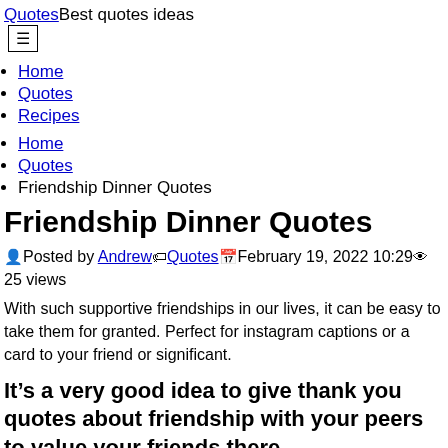QuotesBest quotes ideas
Home
Quotes
Recipes
Home
Quotes
Friendship Dinner Quotes
Friendship Dinner Quotes
Posted by Andrew Quotes February 19, 2022 10:29 25 views
With such supportive friendships in our lives, it can be easy to take them for granted. Perfect for instagram captions or a card to your friend or significant.
It’s a very good idea to give thank you quotes about friendship with your peers to value your friends there.